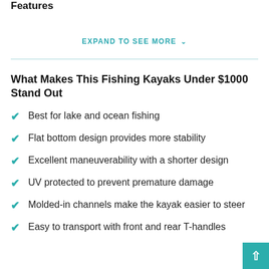Features
EXPAND TO SEE MORE ∨
What Makes This Fishing Kayaks Under $1000 Stand Out
Best for lake and ocean fishing
Flat bottom design provides more stability
Excellent maneuverability with a shorter design
UV protected to prevent premature damage
Molded-in channels make the kayak easier to steer
Easy to transport with front and rear T-handles